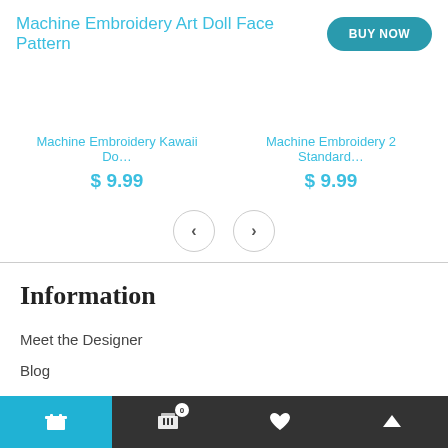Machine Embroidery Art Doll Face Pattern
BUY NOW
Machine Embroidery Kawaii Do…
$ 9.99
Machine Embroidery 2 Standard…
$ 9.99
Information
Meet the Designer
Blog
Policies
Refunds